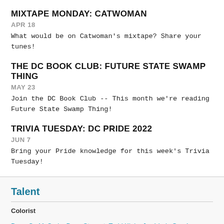MIXTAPE MONDAY: CATWOMAN
APR 18
What would be on Catwoman's mixtape? Share your tunes!
THE DC BOOK CLUB: FUTURE STATE SWAMP THING
MAY 23
Join the DC Book Club -- This month we're reading Future State Swamp Thing!
TRIVIA TUESDAY: DC PRIDE 2022
JUN 7
Bring your Pride knowledge for this week's Trivia Tuesday!
Talent
Colorist
Dave-Co McCraig, Dave Stewart, Todd Klein, José Luis García-López, Shawn McManus